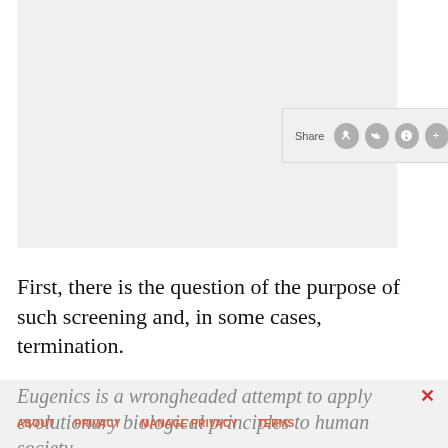[Figure (other): Light gray image placeholder area at the top of the page]
First, there is the question of the purpose of such screening and, in some cases, termination.
Eugenics is a wrongheaded attempt to apply evolutionary biological principles to human society